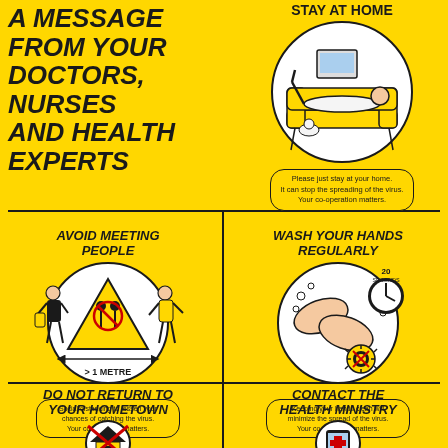A MESSAGE FROM YOUR DOCTORS, NURSES AND HEALTH EXPERTS
STAY AT HOME
[Figure (illustration): Person lying on a couch at home, relaxing, with a cat nearby - stay at home illustration]
Please just stay at your home. It can stop the spreading of the virus. Your co-operation matters.
AVOID MEETING PEOPLE
[Figure (illustration): Two people standing apart with a warning triangle showing a social distancing icon and '>1 METRE' text below]
Social distancing to lessen your chances of catching the virus. Your co-operation matters.
WASH YOUR HANDS REGULARLY
[Figure (illustration): Hands being washed with soap bubbles, clock showing 20 seconds, and a no-virus symbol]
Keeping your hands clean will minimize the spread of the virus. Your co-operation matters.
DO NOT RETURN TO YOUR HOMETOWN
CONTACT THE HEALTH MINISTRY